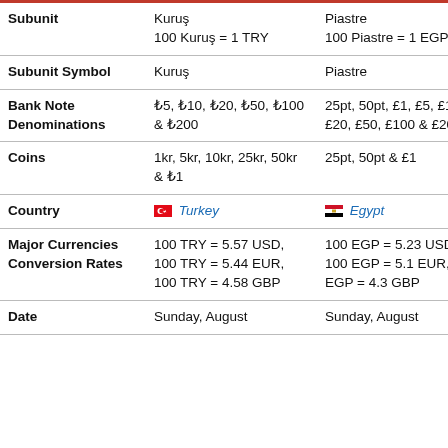|  | Turkey (TRY) | Egypt (EGP) |
| --- | --- | --- |
| Subunit | Kuruş
100 Kuruş = 1 TRY | Piastre
100 Piastre = 1 EGP |
| Subunit Symbol | Kuruş | Piastre |
| Bank Note Denominations | ₺5, ₺10, ₺20, ₺50, ₺100 & ₺200 | 25pt, 50pt, £1, £5, £10, £20, £50, £100 & £200 |
| Coins | 1kr, 5kr, 10kr, 25kr, 50kr & ₺1 | 25pt, 50pt & £1 |
| Country | 🇹🇷 Turkey | 🇪🇬 Egypt |
| Major Currencies Conversion Rates | 100 TRY = 5.57 USD, 100 TRY = 5.44 EUR, 100 TRY = 4.58 GBP | 100 EGP = 5.23 USD, 100 EGP = 5.1 EUR, 100 EGP = 4.3 GBP |
| Date | Sunday, August | Sunday, August |